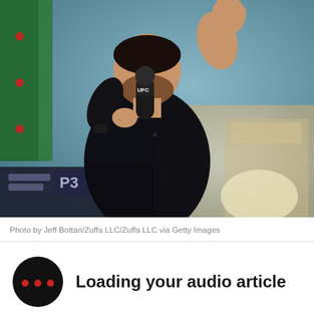[Figure (photo): A man in a black long-sleeve top holding a UFC-branded microphone up to his mouth with one hand, while raising his other hand open-palmed. Background shows blurred urban/event setting with green panels on the left and a store front on the right.]
Photo by Jeff Bottari/Zuffa LLC/Zuffa LLC via Getty Images
Loading your audio article